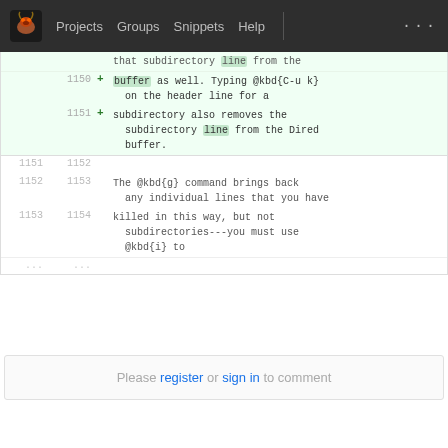Projects  Groups  Snippets  Help
that subdirectory line from the
buffer as well.  Typing @kbd{C-u k}
on the header line for a
subdirectory also removes the
subdirectory line from the Dired
buffer.
The @kbd{g} command brings back any individual lines that you have killed in this way, but not subdirectories---you must use @kbd{i} to
Please register or sign in to comment